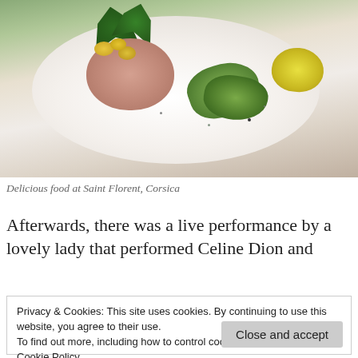[Figure (photo): A plate of food at Saint Florent, Corsica — showing a tartare or chopped fish/meat preparation molded into a round shape, topped with yellow cherry tomatoes and fresh basil leaves, accompanied by green peppers and a wedge of lemon on a white oval plate. Spices are scattered around the plate.]
Delicious food at Saint Florent, Corsica
Afterwards, there was a live performance by a lovely lady that performed Celine Dion and
Privacy & Cookies: This site uses cookies. By continuing to use this website, you agree to their use.
To find out more, including how to control cookies, see here:
Cookie Policy
Close and accept